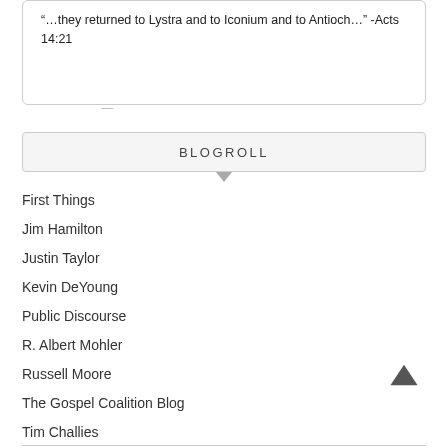“…they returned to Lystra and to Iconium and to Antioch…” -Acts 14:21
BLOGROLL
First Things
Jim Hamilton
Justin Taylor
Kevin DeYoung
Public Discourse
R. Albert Mohler
Russell Moore
The Gospel Coalition Blog
Tim Challies